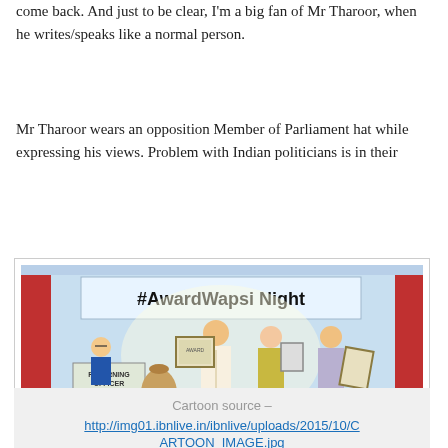come back. And just to be clear, I'm a big fan of Mr Tharoor, when he writes/speaks like a normal person.
Mr Tharoor wears an opposition Member of Parliament hat while expressing his views. Problem with Indian politicians is in their
[Figure (illustration): Political cartoon titled '#AwardWapsi Night' showing figures returning awards to a 'Returning Officer' on a stage, with media cameras in the silhouetted foreground.]
Cartoon source – http://img01.ibnlive.in/ibnlive/uploads/2015/10/CARTOON_IMAGE.jpg